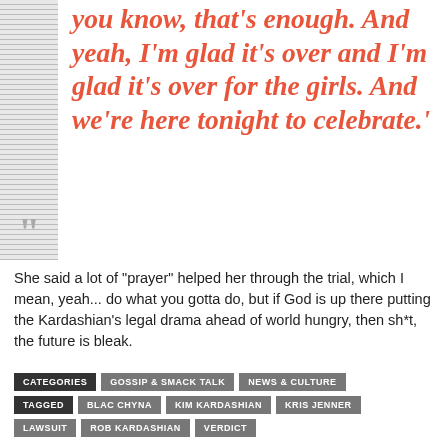you know, that's enough. And yeah, I'm glad it's over and I'm glad it's over for the girls. And we're here tonight to celebrate.'
She said a lot of "prayer" helped her through the trial, which I mean, yeah... do what you gotta do, but if God is up there putting the Kardashian's legal drama ahead of world hungry, then sh*t, the future is bleak.
CATEGORIES  GOSSIP & SMACK TALK  NEWS & CULTURE  TAGGED  BLAC CHYNA  KIM KARDASHIAN  KRIS JENNER  LAWSUIT  ROB KARDASHIAN  VERDICT